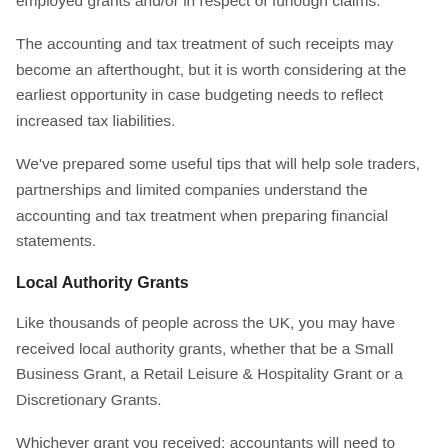received grants, whether from the local authority/self-employed grants and/or in respect of furlough claims.
The accounting and tax treatment of such receipts may become an afterthought, but it is worth considering at the earliest opportunity in case budgeting needs to reflect increased tax liabilities.
We've prepared some useful tips that will help sole traders, partnerships and limited companies understand the accounting and tax treatment when preparing financial statements.
Local Authority Grants
Like thousands of people across the UK, you may have received local authority grants, whether that be a Small Business Grant, a Retail Leisure & Hospitality Grant or a Discretionary Grants.
Whichever grant you received; accountants will need to report